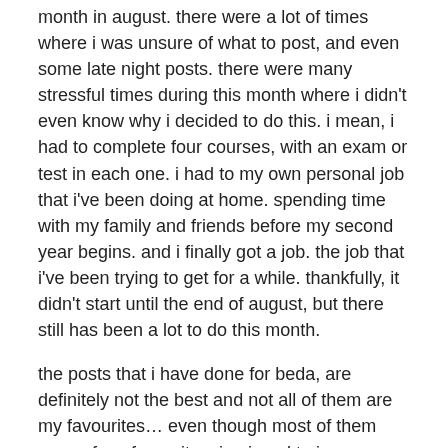month in august. there were a lot of times where i was unsure of what to post, and even some late night posts. there were many stressful times during this month where i didn't even know why i decided to do this. i mean, i had to complete four courses, with an exam or test in each one. i had to my own personal job that i've been doing at home. spending time with my family and friends before my second year begins. and i finally got a job. the job that i've been trying to get for a while. thankfully, it didn't start until the end of august, but there still has been a lot to do this month.
the posts that i have done for beda, are definitely not the best and not all of them are my favourites… even though most of them were of my favourites. i enjoyed trying some new things, such as my writing prompt posts which i have wanted to do for so long. and i absolutely love doing them whenever i have an idea, or an itch to write. i started the sunday sketch, which i'm loving. even though these are just simple sketches i'm posting, i'm loving sharing a part of my sketchbook to everyone. it's been a learning experience to see what i like and dislike posting, and seeing what others are interested in. i have even more ideas now that i can't wait to start working more on now that i have finished beda! all the more intense and posts that require more work, i have saved for now, and i can't wait to start sharing them soon!